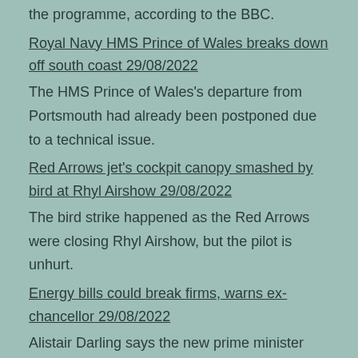the programme, according to the BBC.
Royal Navy HMS Prince of Wales breaks down off south coast 29/08/2022
The HMS Prince of Wales's departure from Portsmouth had already been postponed due to a technical issue.
Red Arrows jet's cockpit canopy smashed by bird at Rhyl Airshow 29/08/2022
The bird strike happened as the Red Arrows were closing Rhyl Airshow, but the pilot is unhurt.
Energy bills could break firms, warns ex-chancellor 29/08/2022
Alistair Darling says the new prime minister must